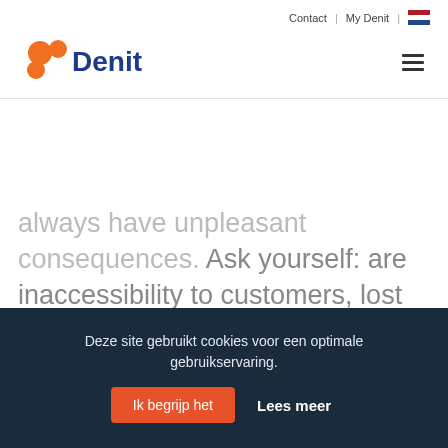Contact | My Denit | [NL flag]
[Figure (logo): Denit logo with orange circles and blue text]
always have unpleasant consequences. Ask yourself: are inaccessibility to customers, lost sales, possible fines from national data protection authorities and considerable damage to your reputation worth not investing in preventive measures? At Denit we
Deze site gebruikt cookies voor een optimale gebruikservaring.
Ik begrijp het  Lees meer